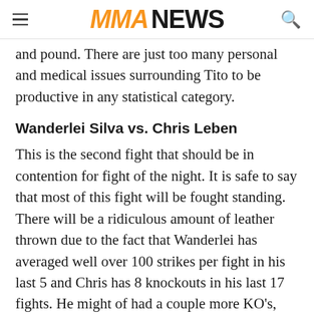MMA NEWS
and pound. There are just too many personal and medical issues surrounding Tito to be productive in any statistical category.
Wanderlei Silva vs. Chris Leben
This is the second fight that should be in contention for fight of the night. It is safe to say that most of this fight will be fought standing. There will be a ridiculous amount of leather thrown due to the fact that Wanderlei has averaged well over 100 strikes per fight in his last 5 and Chris has 8 knockouts in his last 17 fights. He might of had a couple more KO's, but a few of his opponents decided it was a better option to take the fight to